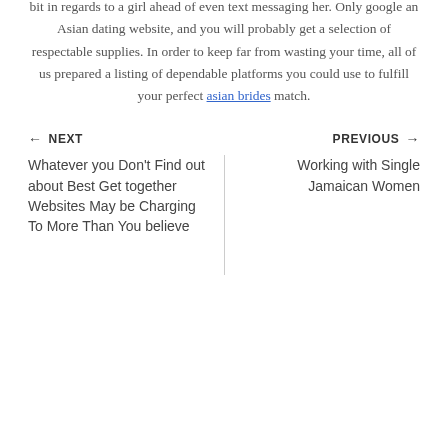bit in regards to a girl ahead of even text messaging her. Only google an Asian dating website, and you will probably get a selection of respectable supplies. In order to keep far from wasting your time, all of us prepared a listing of dependable platforms you could use to fulfill your perfect asian brides match.
← NEXT    PREVIOUS →
Whatever you Don't Find out about Best Get together Websites May be Charging To More Than You believe
Working with Single Jamaican Women